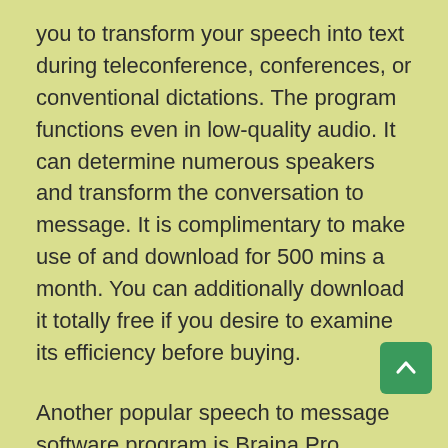you to transform your speech into text during teleconference, conferences, or conventional dictations. The program functions even in low-quality audio. It can determine numerous speakers and transform the conversation to message. It is complimentary to make use of and download for 500 mins a month. You can additionally download it totally free if you desire to examine its efficiency before buying.
Another popular speech to message software program is Braina Pro. Another popular speech to text software is Dragon Dictation, which functions on several operating systems. You can create even more than you ever before believed possible by using speech to text software. Another beneficial speech to text software is Google Translate, which